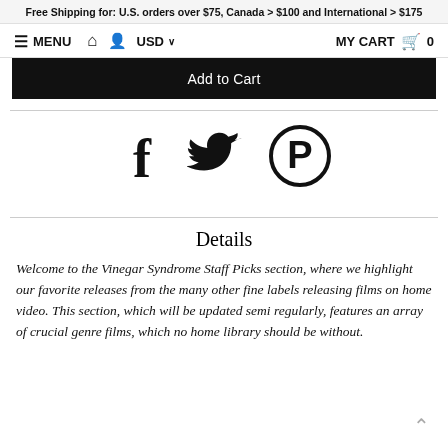Free Shipping for: U.S. orders over $75, Canada > $100 and International > $175
≡ MENU 🏠 👤 USD ∨   MY CART 🛒 0
Add to Cart
[Figure (infographic): Social share icons: Facebook (f), Twitter (bird), Pinterest (P)]
Details
Welcome to the Vinegar Syndrome Staff Picks section, where we highlight our favorite releases from the many other fine labels releasing films on home video. This section, which will be updated semi regularly, features an array of crucial genre films, which no home library should be without.